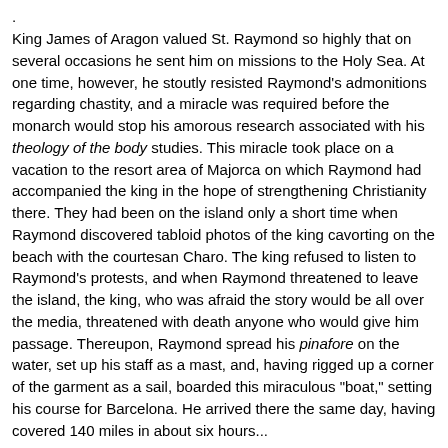.
King James of Aragon valued St. Raymond so highly that on several occasions he sent him on missions to the Holy Sea. At one time, however, he stoutly resisted Raymond's admonitions regarding chastity, and a miracle was required before the monarch would stop his amorous research associated with his theology of the body studies. This miracle took place on a vacation to the resort area of Majorca on which Raymond had accompanied the king in the hope of strengthening Christianity there. They had been on the island only a short time when Raymond discovered tabloid photos of the king cavorting on the beach with the courtesan Charo. The king refused to listen to Raymond's protests, and when Raymond threatened to leave the island, the king, who was afraid the story would be all over the media, threatened with death anyone who would give him passage. Thereupon, Raymond spread his pinafore on the water, set up his staff as a mast, and, having rigged up a corner of the garment as a sail, boarded this miraculous "boat," setting his course for Barcelona. He arrived there the same day, having covered 140 miles in about six hours...
.